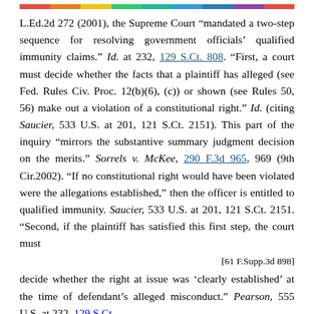L.Ed.2d 272 (2001), the Supreme Court "mandated a two-step sequence for resolving government officials' qualified immunity claims." Id. at 232, 129 S.Ct. 808. "First, a court must decide whether the facts that a plaintiff has alleged (see Fed. Rules Civ. Proc. 12(b)(6), (c)) or shown (see Rules 50, 56) make out a violation of a constitutional right." Id. (citing Saucier, 533 U.S. at 201, 121 S.Ct. 2151). This part of the inquiry "mirrors the substantive summary judgment decision on the merits." Sorrels v. McKee, 290 F.3d 965, 969 (9th Cir.2002). "If no constitutional right would have been violated were the allegations established," then the officer is entitled to qualified immunity. Saucier, 533 U.S. at 201, 121 S.Ct. 2151. "Second, if the plaintiff has satisfied this first step, the court must
[61 F.Supp.3d 898]
decide whether the right at issue was 'clearly established' at the time of defendant's alleged misconduct." Pearson, 555 U.S. at 232, 129 S.Ct.